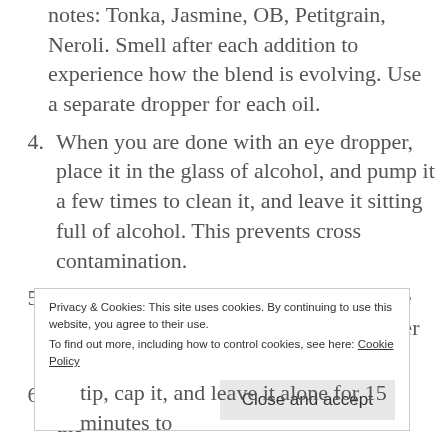notes: Tonka, Jasmine, OB, Petitgrain, Neroli. Smell after each addition to experience how the blend is evolving. Use a separate dropper for each oil.
4. When you are done with an eye dropper, place it in the glass of alcohol, and pump it a few times to clean it, and leave it sitting full of alcohol. This prevents cross contamination.
5. Measure out the grated beeswax into the lab casserole. Hold the lab casserole over the burner until the wax melts.
6. Quickly pour the essential oil blend into the
Privacy & Cookies: This site uses cookies. By continuing to use this website, you agree to their use.
To find out more, including how to control cookies, see here: Cookie Policy
tip, cap it, and leave it alone for 15 minutes to